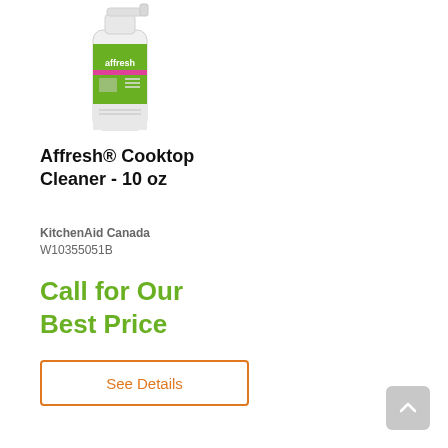[Figure (photo): Affresh cooktop cleaner bottle - white spray bottle with green and pink label]
Affresh® Cooktop Cleaner - 10 oz
KitchenAid Canada
W10355051B
Call for Our Best Price
See Details